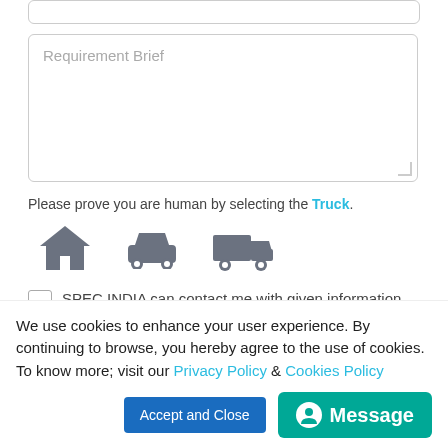[Figure (screenshot): A form textarea placeholder labeled 'Requirement Brief']
Please prove you are human by selecting the Truck.
[Figure (infographic): Three icons: a house, a car, and a truck for human verification CAPTCHA]
SPEC INDIA can contact me with given information. View our Privacy Policy & Cookie Policy
[Figure (screenshot): Submit button (rounded, blue gradient)]
We use cookies to enhance your user experience. By continuing to browse, you hereby agree to the use of cookies. To know more; visit our Privacy Policy & Cookies Policy
Accept and Close
Message